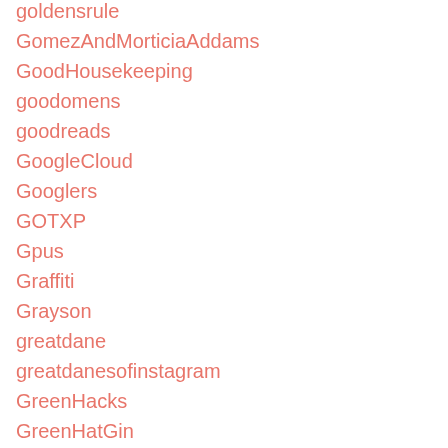goldensrule
GomezAndMorticiaAddams
GoodHousekeeping
goodomens
goodreads
GoogleCloud
Googlers
GOTXP
Gpus
Graffiti
Grayson
greatdane
greatdanesofinstagram
GreenHacks
GreenHatGin